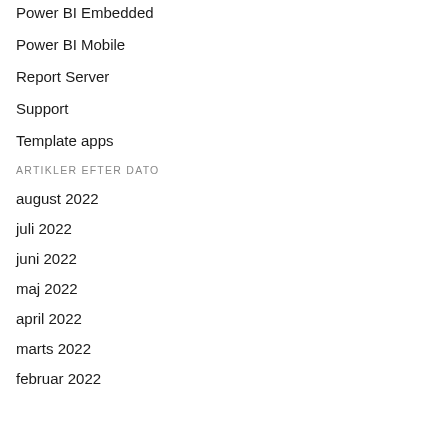Power BI Embedded
Power BI Mobile
Report Server
Support
Template apps
ARTIKLER EFTER DATO
august 2022
juli 2022
juni 2022
maj 2022
april 2022
marts 2022
februar 2022